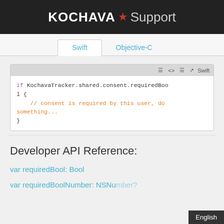KOCHAVA ★ Support
Swift | Objective-C (tab bar)
[Figure (screenshot): Code block showing Swift syntax: if KochavaTracker.shared.consent.requiredBool { // consent is required by this user, do something... }]
Developer API Reference:
var requiredBool: Bool
var requiredBoolNumber: NSNu...